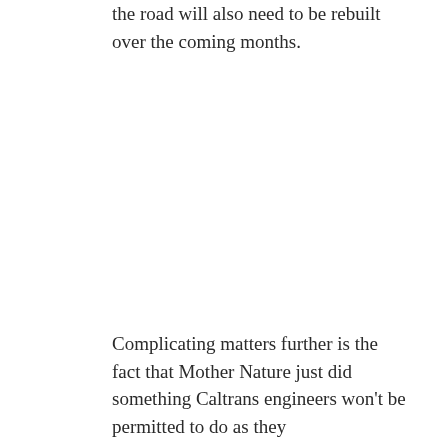the road will also need to be rebuilt over the coming months.
Complicating matters further is the fact that Mother Nature just did something Caltrans engineers won't be permitted to do as they